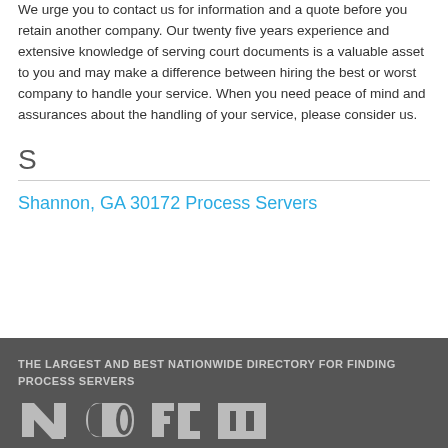We urge you to contact us for information and a quote before you retain another company. Our twenty five years experience and extensive knowledge of serving court documents is a valuable asset to you and may make a difference between hiring the best or worst company to handle your service. When you need peace of mind and assurances about the handling of your service, please consider us.
S
Shannon, GA 30172 Process Servers
THE LARGEST AND BEST NATIONWIDE DIRECTORY FOR FINDING PROCESS SERVERS